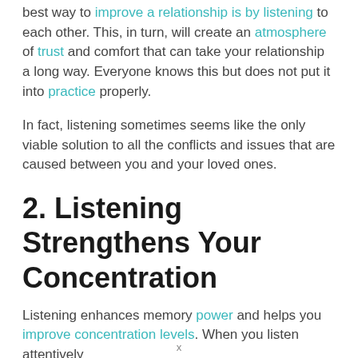best way to improve a relationship is by listening to each other. This, in turn, will create an atmosphere of trust and comfort that can take your relationship a long way. Everyone knows this but does not put it into practice properly.
In fact, listening sometimes seems like the only viable solution to all the conflicts and issues that are caused between you and your loved ones.
2. Listening Strengthens Your Concentration
Listening enhances memory power and helps you improve concentration levels. When you listen attentively
x